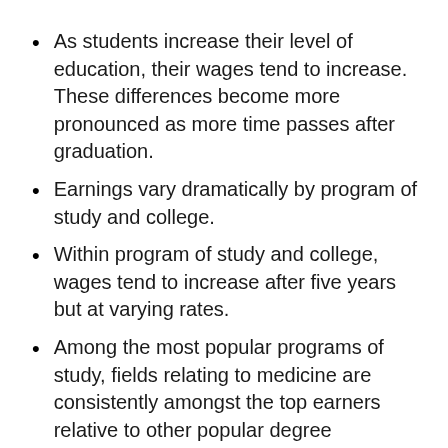As students increase their level of education, their wages tend to increase. These differences become more pronounced as more time passes after graduation.
Earnings vary dramatically by program of study and college.
Within program of study and college, wages tend to increase after five years but at varying rates.
Among the most popular programs of study, fields relating to medicine are consistently amongst the top earners relative to other popular degree categories.
Business related bachelor's and master's